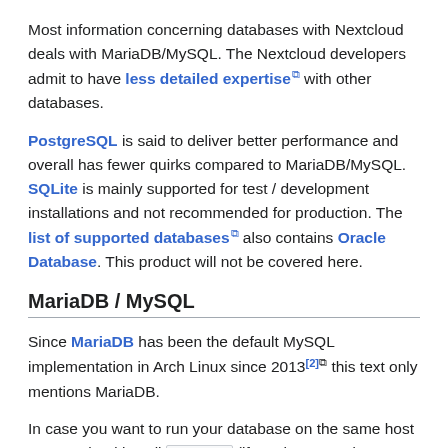Most information concerning databases with Nextcloud deals with MariaDB/MySQL. The Nextcloud developers admit to have less detailed expertise with other databases.
PostgreSQL is said to deliver better performance and overall has fewer quirks compared to MariaDB/MySQL. SQLite is mainly supported for test / development installations and not recommended for production. The list of supported databases also contains Oracle Database. This product will not be covered here.
MariaDB / MySQL
Since MariaDB has been the default MySQL implementation in Arch Linux since 2013[2] this text only mentions MariaDB.
In case you want to run your database on the same host as Nextcloud install mariadb (if you have not done so already). See the corresponding article for details. Do not forget to initialize MariaDB with mariadb-install-db . It is recommended for additional security to configure MariaDB to only listen on a local Unix socket: